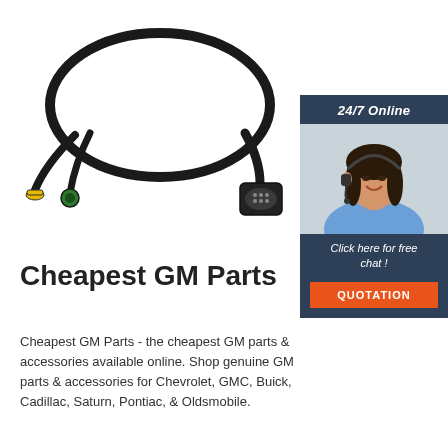[Figure (photo): Black automotive wiring harness cable with multiple connectors: a yellow connector, a green round connector, and a large multi-pin plug at the end, coiled on white background]
[Figure (infographic): Sidebar widget with dark blue background showing '24/7 Online' header, a smiling woman with headset, text 'Click here for free chat!' and an orange 'QUOTATION' button]
Cheapest GM Parts
Cheapest GM Parts - the cheapest GM parts & accessories available online. Shop genuine GM parts & accessories for Chevrolet, GMC, Buick, Cadillac, Saturn, Pontiac, & Oldsmobile.